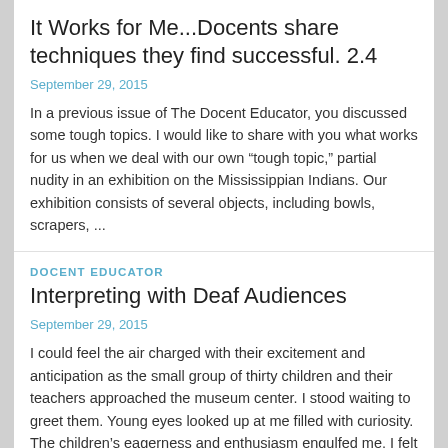It Works for Me...Docents share techniques they find successful. 2.4
September 29, 2015
In a previous issue of The Docent Educator, you discussed some tough topics. I would like to share with you what works for us when we deal with our own “tough topic,” partial nudity in an exhibition on the Mississippian Indians. Our exhibition consists of several objects, including bowls, scrapers, ...
DOCENT EDUCATOR
Interpreting with Deaf Audiences
September 29, 2015
I could feel the air charged with their excitement and anticipation as the small group of thirty children and their teachers approached the museum center. I stood waiting to greet them. Young eyes looked up at me filled with curiosity. The children’s eagerness and enthusiasm engulfed me. I felt myself ...